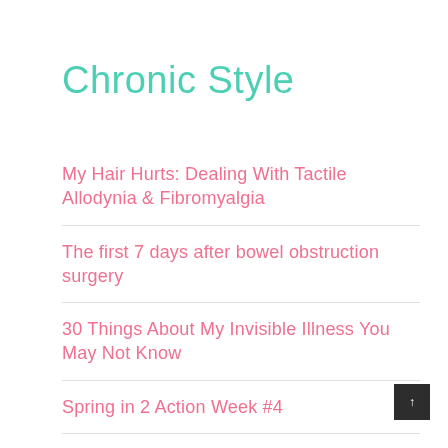Chronic Style
My Hair Hurts: Dealing With Tactile Allodynia & Fibromyalgia
The first 7 days after bowel obstruction surgery
30 Things About My Invisible Illness You May Not Know
Spring in 2 Action Week #4
Jamee's Rules About Life With